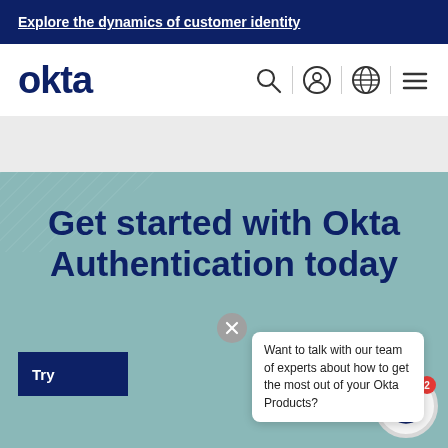Explore the dynamics of customer identity
[Figure (logo): Okta logo in dark navy blue]
[Figure (screenshot): Navigation bar icons: search, user, globe, hamburger menu]
Get started with Okta Authentication today
Try
Want to talk with our team of experts about how to get the most out of your Okta Products?